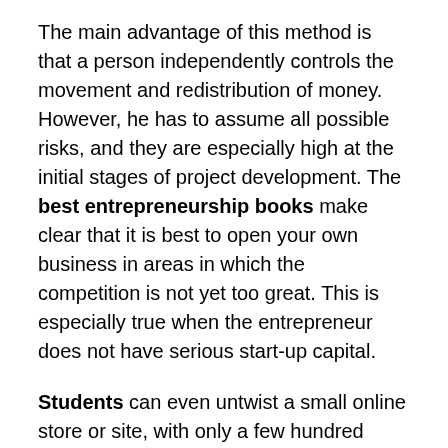The main advantage of this method is that a person independently controls the movement and redistribution of money. However, he has to assume all possible risks, and they are especially high at the initial stages of project development. The best entrepreneurship books make clear that it is best to open your own business in areas in which the competition is not yet too great. This is especially true when the entrepreneur does not have serious start-up capital.
Students can even untwist a small online store or site, with only a few hundred dollars, if they choose a successful niche. When there is a promising business idea, it is even possible to attract seed capital from outside or to do a common project by pooling money together with classmates. The main thing is to make a competent business plan, because this will depend on